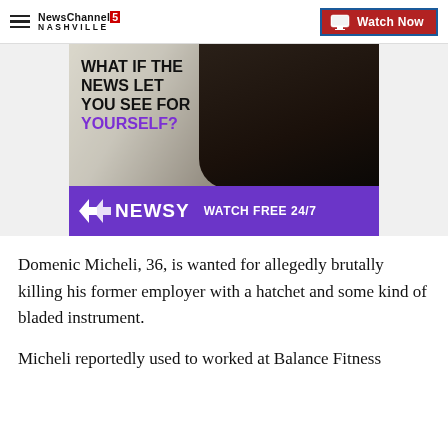NewsChannel 5 Nashville | Watch Now
[Figure (illustration): Newsy advertisement banner: 'WHAT IF THE NEWS LET YOU SEE FOR YOURSELF?' with people in background and Newsy logo, 'WATCH FREE 24/7']
Domenic Micheli, 36, is wanted for allegedly brutally killing his former employer with a hatchet and some kind of bladed instrument.
Micheli reportedly used to worked at Balance Fitness